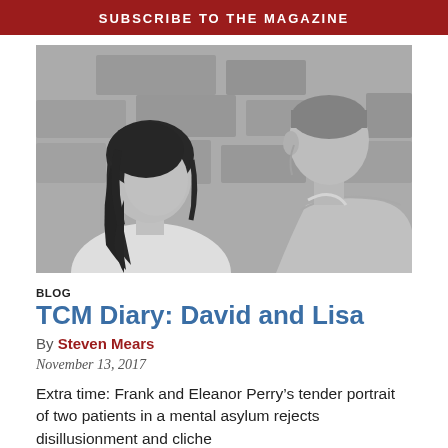SUBSCRIBE TO THE MAGAZINE
[Figure (photo): Black and white still from the film David and Lisa, showing a young woman with dark shoulder-length hair facing a young man in a light jacket, both in profile against a stone wall background.]
BLOG
TCM Diary: David and Lisa
By Steven Mears
November 13, 2017
Extra time: Frank and Eleanor Perry’s tender portrait of two patients in a mental asylum rejects disillusionment and cliche